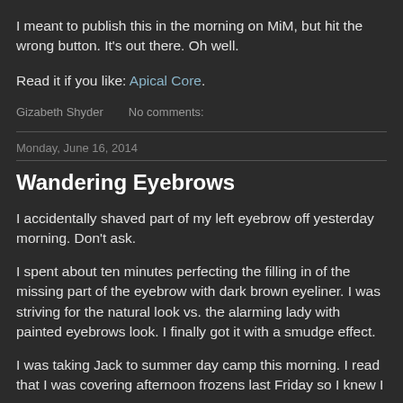I meant to publish this in the morning on MiM, but hit the wrong button. It's out there. Oh well.
Read it if you like: Apical Core.
Gizabeth Shyder    No comments:
Monday, June 16, 2014
Wandering Eyebrows
I accidentally shaved part of my left eyebrow off yesterday morning. Don't ask.
I spent about ten minutes perfecting the filling in of the missing part of the eyebrow with dark brown eyeliner. I was striving for the natural look vs. the alarming lady with painted eyebrows look. I finally got it with a smudge effect.
I was taking Jack to summer day camp this morning. I read that I was covering afternoon frozens last Friday so I knew I